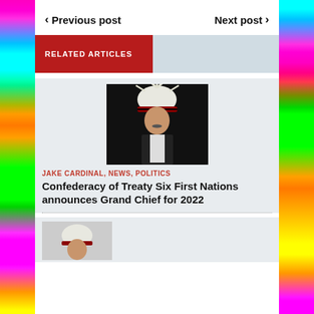< Previous post    Next post >
RELATED ARTICLES
[Figure (photo): Person wearing a traditional Indigenous headdress (white feathers with red and black beading), photographed against a dark background. Appears to be a Grand Chief.]
JAKE CARDINAL, NEWS, POLITICS
Confederacy of Treaty Six First Nations announces Grand Chief for 2022
[Figure (photo): Partial view of a second article image, showing what appears to be a traditional headdress, cut off at bottom of page.]